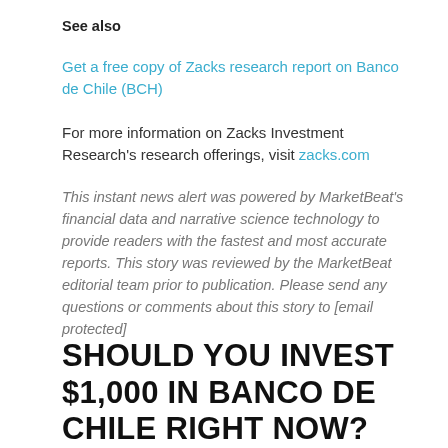See also
Get a free copy of Zacks research report on Banco de Chile (BCH)
For more information on Zacks Investment Research's research offerings, visit zacks.com
This instant news alert was powered by MarketBeat's financial data and narrative science technology to provide readers with the fastest and most accurate reports. This story was reviewed by the MarketBeat editorial team prior to publication. Please send any questions or comments about this story to [email protected]
SHOULD YOU INVEST $1,000 IN BANCO DE CHILE RIGHT NOW?